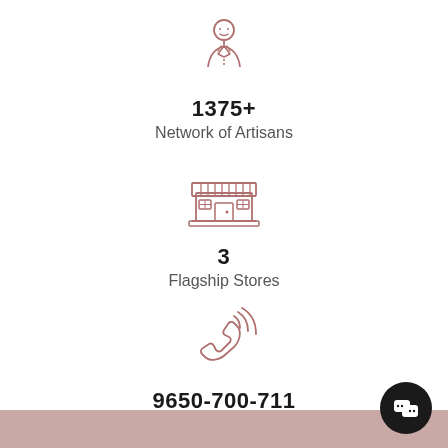[Figure (illustration): Line art icon of a person/artisan wearing a jacket, centered at top]
1375+
Network of Artisans
[Figure (illustration): Line art icon of a storefront/shop building with awning]
3
Flagship Stores
[Figure (illustration): Line art icon of a phone handset with signal waves indicating a call]
9650-700-711
Customer Support (9:30am-6pm)